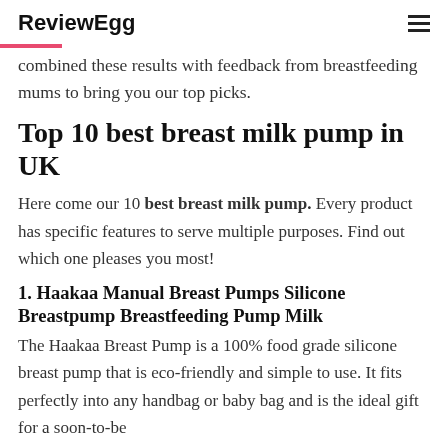ReviewEgg
combined these results with feedback from breastfeeding mums to bring you our top picks.
Top 10 best breast milk pump in UK
Here come our 10 best breast milk pump. Every product has specific features to serve multiple purposes. Find out which one pleases you most!
1. Haakaa Manual Breast Pumps Silicone Breastpump Breastfeeding Pump Milk
The Haakaa Breast Pump is a 100% food grade silicone breast pump that is eco-friendly and simple to use. It fits perfectly into any handbag or baby bag and is the ideal gift for a soon-to-be